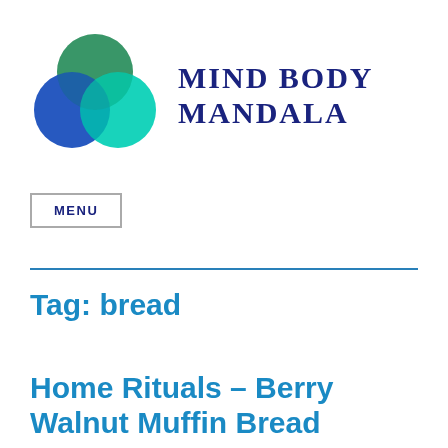[Figure (logo): Mind Body Mandala logo: circular mandala with overlapping blue, dark blue, teal and cyan circles, beside the text Mind Body Mandala in dark navy serif uppercase]
MENU
Tag: bread
Home Rituals – Berry Walnut Muffin Bread